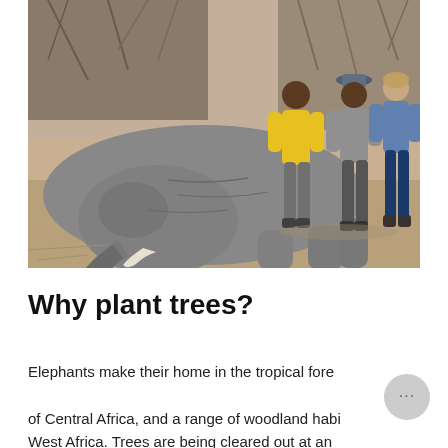[Figure (photo): A dead elephant lying on dry ground with two men and one woman standing over it. The elephant is on its side with a tusk visible. The men are dressed in casual clothing (one in yellow shirt, one in grey/khaki), the woman is in a blue top and jeans. The background shows dry scrubland and sparse trees.]
Why plant trees?
Elephants make their home in the tropical forests of Central Africa, and a range of woodland habitats in West Africa. Trees are being cleared out at an alarming rate, destroying their habitats. Trees are vital